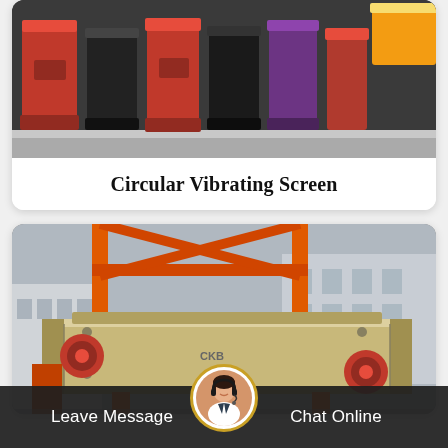[Figure (photo): Close-up photo of red and black industrial screen panels (circular vibrating screen components) stacked together, with a yellow component visible in background]
Circular Vibrating Screen
[Figure (photo): Industrial photo of a large beige/cream colored circular vibrating screen machine supported by orange-red metal frame structure, photographed outdoors near a factory building]
Leave Message
Chat Online